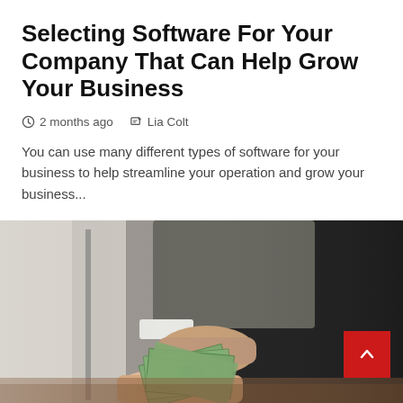Selecting Software For Your Company That Can Help Grow Your Business
2 months ago   Lia Colt
You can use many different types of software for your business to help streamline your operation and grow your business...
[Figure (photo): A person in a suit handing a fan of US dollar bills to another person, with a laptop visible in the background on a wooden surface.]